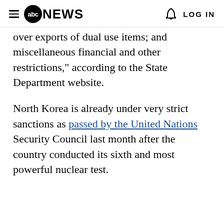abc NEWS  LOG IN
over exports of dual use items; and miscellaneous financial and other restrictions," according to the State Department website.
North Korea is already under very strict sanctions as passed by the United Nations Security Council last month after the country conducted its sixth and most powerful nuclear test.